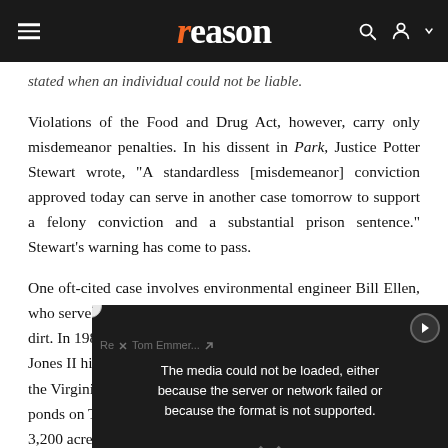reason
stated when an individual could not be liable.
Violations of the Food and Drug Act, however, carry only misdemeanor penalties. In his dissent in Park, Justice Potter Stewart wrote, "A standardless [misdemeanor] conviction approved today can serve in another case tomorrow to support a felony conviction and a substantial prison sentence." Stewart's warning has come to pass.
One oft-cited case involves environmental engineer Bill Ellen, who serve... dirt. In 1987, Ch... Jones II hired E... the Virginia Ma... ponds on Tudor... 3,200 acres Jones... Maryland's East...
[Figure (screenshot): Video player overlay showing error message: 'The media could not be loaded, either because the server or network failed or because the format is not supported.' with a play button icon and X dismiss button. Below is an ad bar from CoinDesk: 'Rep Tom Emmer Asks Treasury Department to Explain Tornado Cash Sanctions']